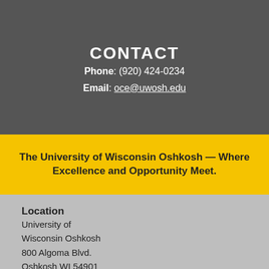CONTACT
Phone: (920) 424-0234
Email: oce@uwosh.edu
The University of Wisconsin Oshkosh — Where Excellence and Opportunity Meet.
Location
University of
Wisconsin Oshkosh
800 Algoma Blvd.
Oshkosh WI 54901